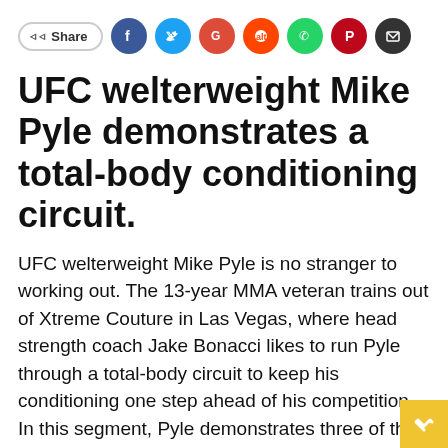[Figure (infographic): Social share bar with Share button and social media icons: Facebook, Twitter, Google+, Reddit, WhatsApp, Pinterest, Email]
UFC welterweight Mike Pyle demonstrates a total-body conditioning circuit.
UFC welterweight Mike Pyle is no stranger to working out. The 13-year MMA veteran trains out of Xtreme Couture in Las Vegas, where head strength coach Jake Bonacci likes to run Pyle through a total-body circuit to keep his conditioning one step ahead of his competition. In this segment, Pyle demonstrates three of the combo-exercises that Bonacci mixes in on a regular basis.